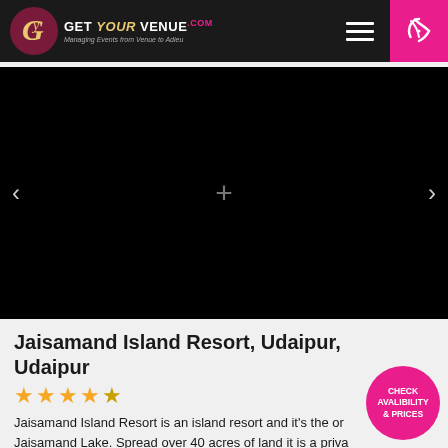Get Your Venue .com — Managing Events from Venue to Adieu
[Figure (photo): Black image carousel with left arrow, plus icon, and right arrow navigation controls]
Jaisamand Island Resort, Udaipur, Udaipur
★★★★☆
Jaisamand Island Resort is an island resort and it's the on... Jaisamand Lake. Spread over 40 acres of land it is a priva... and is also quite close to the Jaisamand Lake Dam. An ethe... location perfect for an intimate celebration, it is one of the favorite
CHECK AVALIBILITY & PRICES